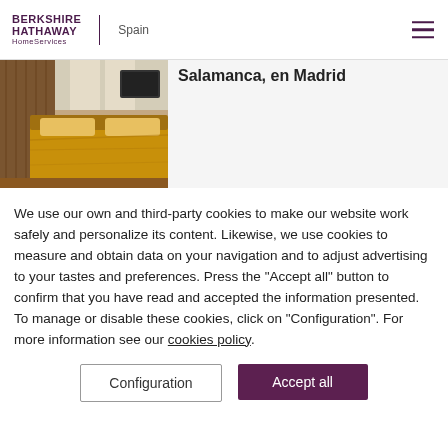BERKSHIRE HATHAWAY HomeServices | Spain
Salamanca, en Madrid
[Figure (photo): Interior bedroom photo showing a bed with golden/tan bedding, wooden furniture, and curtained windows in background]
We use our own and third-party cookies to make our website work safely and personalize its content. Likewise, we use cookies to measure and obtain data on your navigation and to adjust advertising to your tastes and preferences. Press the "Accept all" button to confirm that you have read and accepted the information presented. To manage or disable these cookies, click on "Configuration". For more information see our cookies policy.
Configuration
Accept all